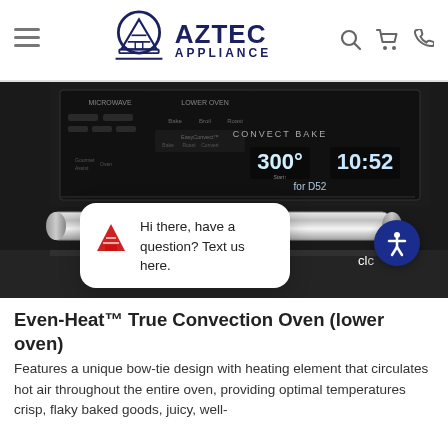Aztec Appliance
[Figure (photo): Close-up of a stainless steel double wall oven control panel showing 'CONVECT BAKE', temperature display '300°' and time '10:52', with a chat popup overlay saying 'Hi there, have a question? Text us here.' and an accessibility icon button.]
Even-Heat™ True Convection Oven (lower oven)
Features a unique bow-tie design with heating element that circulates hot air throughout the entire oven, providing optimal temperatures crisp, flaky baked goods, juicy, well-